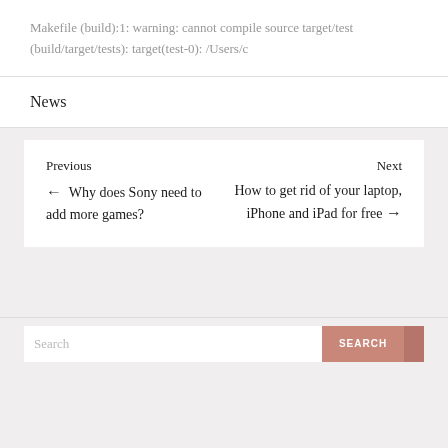Makefile (build):1: warning: cannot compile source target/test (build/target/tests): target(test-0): /Users/c
News
Previous ← Why does Sony need to add more games?
Next How to get rid of your laptop, iPhone and iPad for free →